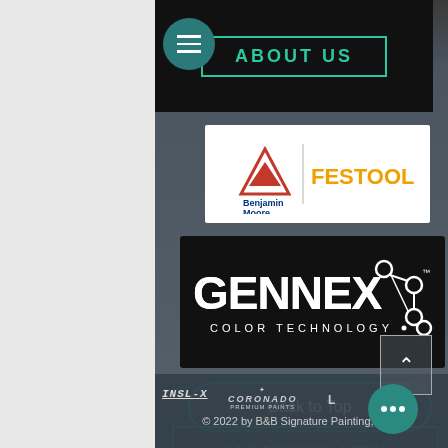[Figure (screenshot): Website footer/navigation page for B&B Signature Painting showing About Us nav, Benjamin Moore + Festool logos, Gennex Color Technology logo, Back to Top button, Visit Benjamin Moore button, See Personal Color Viewer button, INSL-X and Coronado brand logos, hamburger menu, and more options button]
© 2022 by B&B Signature Painting, L.